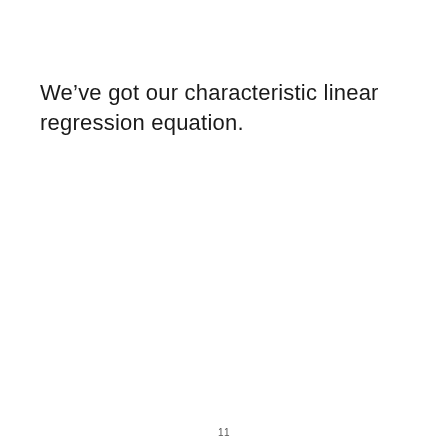We've got our characteristic linear regression equation.
11